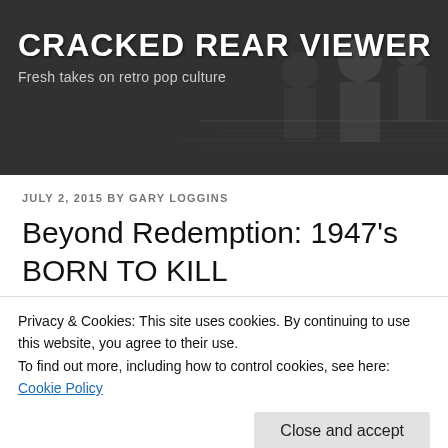CRACKED REAR VIEWER
Fresh takes on retro pop culture
JULY 2, 2015 BY GARY LOGGINS
Beyond Redemption: 1947's BORN TO KILL
[Figure (photo): Movie poster image for Born to Kill (1947) showing text 'THE COLDEST' in yellow lettering over a dark image]
Privacy & Cookies: This site uses cookies. By continuing to use this website, you agree to their use.
To find out more, including how to control cookies, see here: Cookie Policy
Close and accept